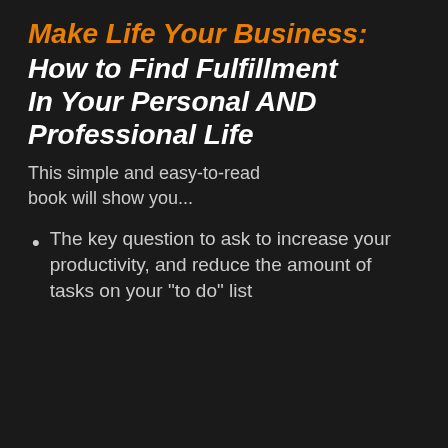Make Life Your Business: How to Find Fulfillment In Your Personal AND Professional Life
This simple and easy-to-read book will show you...
The key question to ask to increase your productivity, and reduce the amount of tasks on your "to do" list